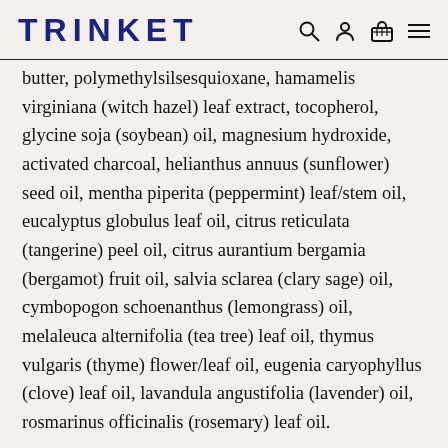TRINKET
butter, polymethylsilsesquioxane, hamamelis virginiana (witch hazel) leaf extract, tocopherol, glycine soja (soybean) oil, magnesium hydroxide, activated charcoal, helianthus annuus (sunflower) seed oil, mentha piperita (peppermint) leaf/stem oil, eucalyptus globulus leaf oil, citrus reticulata (tangerine) peel oil, citrus aurantium bergamia (bergamot) fruit oil, salvia sclarea (clary sage) oil, cymbopogon schoenanthus (lemongrass) oil, melaleuca alternifolia (tea tree) leaf oil, thymus vulgaris (thyme) flower/leaf oil, eugenia caryophyllus (clove) leaf oil, lavandula angustifolia (lavender) oil, rosmarinus officinalis (rosemary) leaf oil.
CUSTOMER REVIEWS